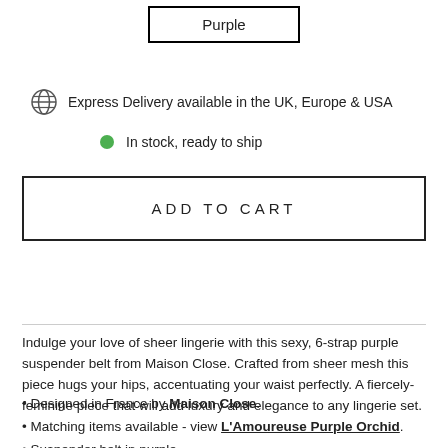Purple
Express Delivery available in the UK, Europe & USA
In stock, ready to ship
ADD TO CART
Indulge your love of sheer lingerie with this sexy, 6-strap purple suspender belt from Maison Close. Crafted from sheer mesh this piece hugs your hips, accentuating your waist perfectly. A fiercely-feminine piece that will add luxury and elegance to any lingerie set.
• Designed in France by Maison Close.
• Matching items available - view L'Amoureuse Purple Orchid.
• Suspender belt in purple.
• Soft, sheer mesh.